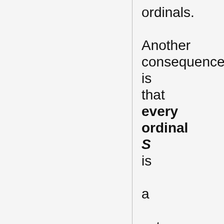ordinals. Another consequence is that every ordinal S is a set having as elements precisely